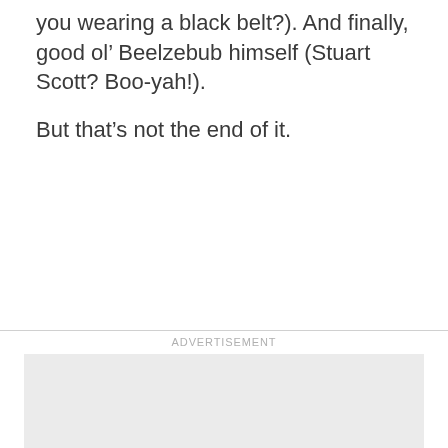you wearing a black belt?). And finally, good ol’ Beelzebub himself (Stuart Scott? Boo-yah!).
But that’s not the end of it.
[Figure (other): Advertisement placeholder block with 'ADVERTISEMENT' label above a light gray rectangle]